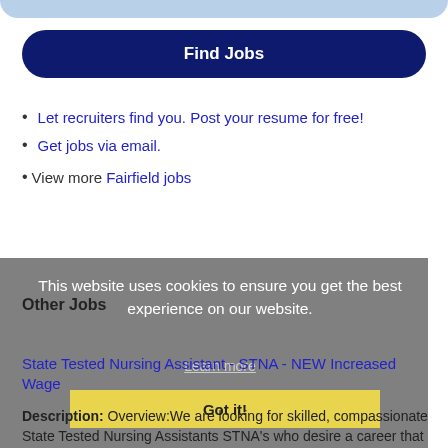[Figure (other): Light blue top bar / header strip]
[Figure (other): Dark navy blue rounded 'Find Jobs' button]
Let recruiters find you. Post your resume for free!
Get jobs via email.
View more Fairfield jobs
This website uses cookies to ensure you get the best experience on our website. Learn more
Other Jobs
State Tested Nursing Assistant - STNA - NEW Increased Wage
Got it!
Description: Overview:We are looking for skilled, compassionate State Tested Nursing Assistants STNA's who desire a career that matters in a community that values their expertise. - A State Tested